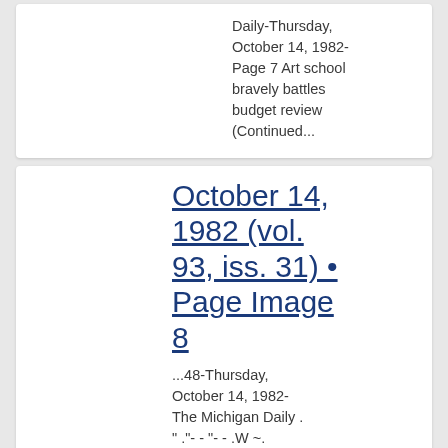Daily-Thursday, October 14, 1982-Page 7 Art school bravely battles budget review (Continued...
October 14, 1982 (vol. 93, iss. 31) • Page Image 8
...48-Thursday, October 14, 1982-The Michigan Daily . " ."- - "- - .W ~. Polyester...